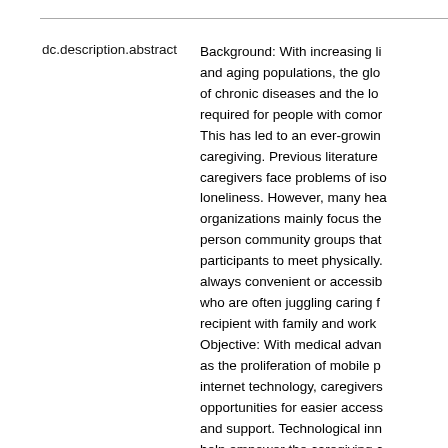| Field | Value |
| --- | --- |
| dc.description.abstract | Background: With increasing li... and aging populations, the glo... of chronic diseases and the lo... required for people with comor... This has led to an ever-growin... caregiving. Previous literature ... caregivers face problems of iso... loneliness. However, many hea... organizations mainly focus the... person community groups that ... participants to meet physically.... always convenient or accessib... who are often juggling caring f... recipient with family and work ... Objective: With medical advan... as the proliferation of mobile p... internet technology, caregivers... opportunities for easier access... and support. Technological inn... help empower the caregiving c... seek assistance for improving ... life at their convenience. A sc... |